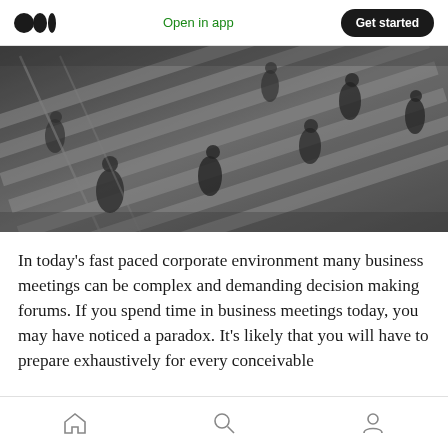Open in app | Get started
[Figure (photo): Black and white overhead photo of people walking on escalators/stairs in a busy public space, motion blur effect]
In today’s fast paced corporate environment many business meetings can be complex and demanding decision making forums. If you spend time in business meetings today, you may have noticed a paradox. It’s likely that you will have to prepare exhaustively for every conceivable
Home | Search | Profile